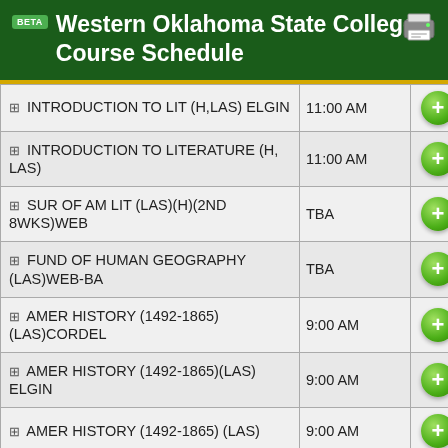BETA Western Oklahoma State College: Course Schedule
| Course | Time | Add |
| --- | --- | --- |
| ⊞ INTRODUCTION TO LIT (H,LAS) ELGIN | 11:00 AM | + |
| ⊞ INTRODUCTION TO LITERATURE (H, LAS) | 11:00 AM | + |
| ⊞ SUR OF AM LIT (LAS)(H)(2ND 8WKS)WEB | TBA | + |
| ⊞ FUND OF HUMAN GEOGRAPHY (LAS)WEB-BA | TBA | + |
| ⊞ AMER HISTORY (1492-1865) (LAS)CORDEL | 9:00 AM | + |
| ⊞ AMER HISTORY (1492-1865)(LAS) ELGIN | 9:00 AM | + |
| ⊞ AMER HISTORY (1492-1865) (LAS) | 9:00 AM | + |
| ⊞ AMER HISTORY (1492-1865) | TBA | + |